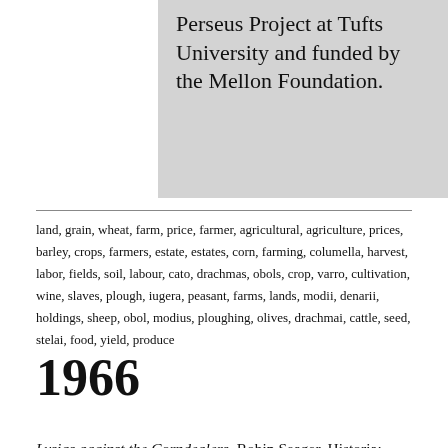Perseus Project at Tufts University and funded by the Mellon Foundation.
land, grain, wheat, farm, price, farmer, agricultural, agriculture, prices, barley, crops, farmers, estate, estates, corn, farming, columella, harvest, labor, fields, soil, labour, cato, drachmas, obols, crop, varro, cultivation, wine, slaves, plough, iugera, peasant, farms, lands, modii, denarii, holdings, sheep, obol, modius, ploughing, olives, drachmai, cattle, seed, stelai, food, yield, produce
1966
Lysias against the Corndealers. Robin Seager. Historia: Zeitschrift fur Alte Geschichte. (Apr., 1966), pp. 172-184 List themes Full text (256 theme words)